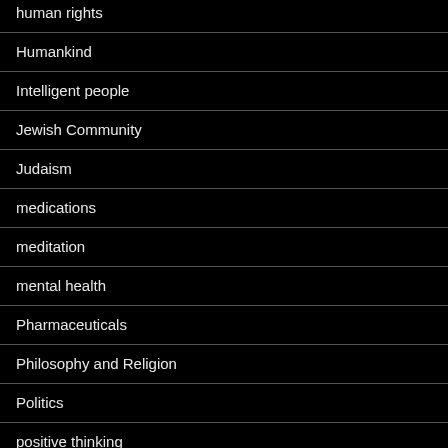human rights
Humankind
Intelligent people
Jewish Community
Judaism
medications
meditation
mental health
Pharmaceuticals
Philosophy and Religion
Politics
positive thinking
Poweredbywordpress